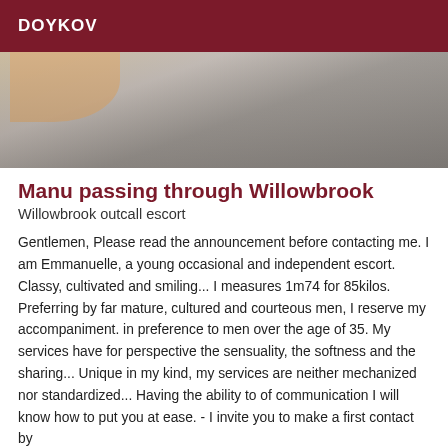DOYKOV
[Figure (photo): Partial photo of a person, showing arm/hand against a dark grey background, cropped at top]
Manu passing through Willowbrook
Willowbrook outcall escort
Gentlemen, Please read the announcement before contacting me. I am Emmanuelle, a young occasional and independent escort. Classy, cultivated and smiling... I measures 1m74 for 85kilos. Preferring by far mature, cultured and courteous men, I reserve my accompaniment. in preference to men over the age of 35. My services have for perspective the sensuality, the softness and the sharing... Unique in my kind, my services are neither mechanized nor standardized... Having the ability to of communication I will know how to put you at ease. - I invite you to make a first contact by